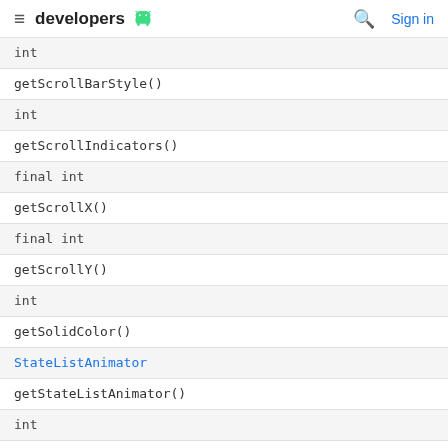developers [android logo] | [search] Sign in
| int |
| getScrollBarStyle() |
| int |
| getScrollIndicators() |
| final int |
| getScrollX() |
| final int |
| getScrollY() |
| int |
| getSolidColor() |
| StateListAnimator |
| getStateListAnimator() |
| int |